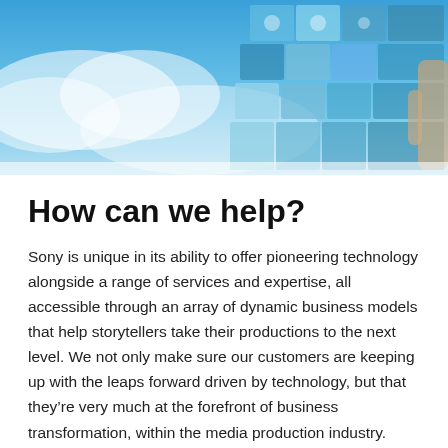[Figure (photo): Hero image showing a blue sky with clouds and a collage of media/photo thumbnails floating in the sky, with a hand visible on the right side.]
How can we help?
Sony is unique in its ability to offer pioneering technology alongside a range of services and expertise, all accessible through an array of dynamic business models that help storytellers take their productions to the next level. We not only make sure our customers are keeping up with the leaps forward driven by technology, but that they’re very much at the forefront of business transformation, within the media production industry.